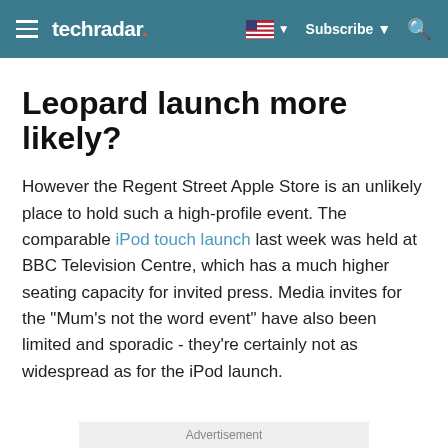techradar | Subscribe
Leopard launch more likely?
However the Regent Street Apple Store is an unlikely place to hold such a high-profile event. The comparable iPod touch launch last week was held at BBC Television Centre, which has a much higher seating capacity for invited press. Media invites for the "Mum's not the word event" have also been limited and sporadic - they're certainly not as widespread as for the iPod launch.
Advertisement